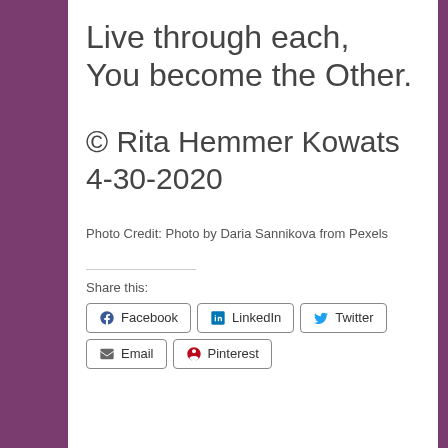Live through each,
You become the Other.
© Rita Hemmer Kowats
4-30-2020
Photo Credit: Photo by Daria Sannikova from Pexels
Share this:
Facebook  LinkedIn  Twitter  Email  Pinterest